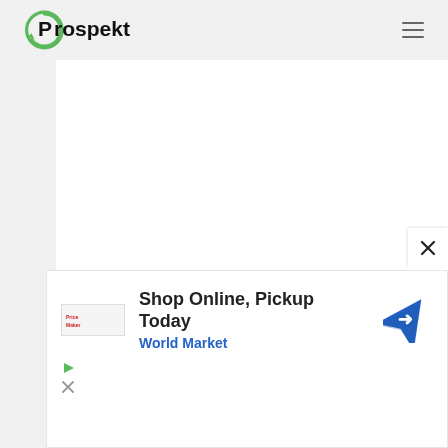[Figure (logo): Prospekt logo - circular green arrow icon with 'Prospekt' text in black]
[Figure (other): Hamburger menu icon (three horizontal lines) in top right of header]
[Figure (other): Large white content area - main page body (blank/loading)]
[Figure (other): Close (X) button overlay at bottom right of white content area]
[Figure (other): Advertisement banner: Price Maker logo, text 'Shop Online, Pickup Today / World Market', blue navigation pin icon, play and close ad controls]